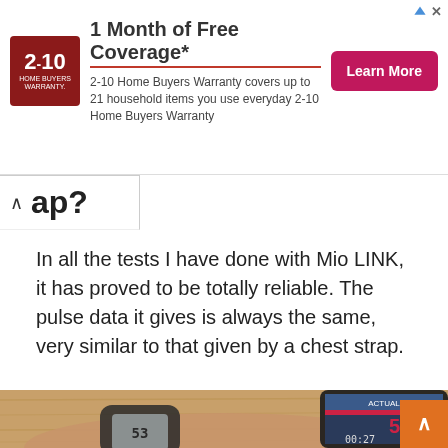[Figure (infographic): Advertisement banner for 2-10 Home Buyers Warranty. Logo with '2-10 HOME BUYERS WARRANTY.' in dark red/brown. Headline: '1 Month of Free Coverage*'. Subtext: '2-10 Home Buyers Warranty covers up to 21 household items you use everyday 2-10 Home Buyers Warranty'. Pink 'Learn More' button. Top-right: ad attribution arrow icon and X close button.]
ap?
In all the tests I have done with Mio LINK, it has proved to be totally reliable. The pulse data it gives is always the same, very similar to that given by a chest strap.
[Figure (photo): Photo of a person's wrist wearing a GPS sport watch (showing '53' on display) next to a smartphone showing a fitness app with heart rate reading '52' and time '00:27', on a wooden table background.]